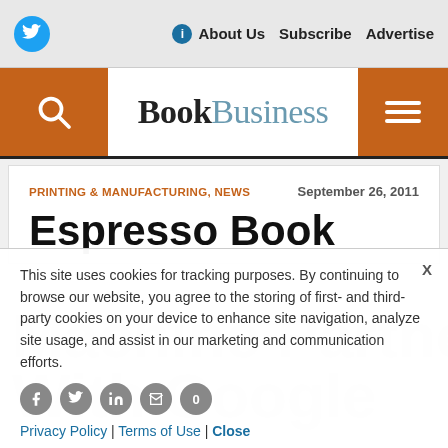Twitter | About Us | Subscribe | Advertise
[Figure (logo): BookBusiness logo with search and menu buttons]
PRINTING & MANUFACTURING, NEWS   September 26, 2011
Espresso Book Machine Partners With Google
This site uses cookies for tracking purposes. By continuing to browse our website, you agree to the storing of first- and third-party cookies on your device to enhance site navigation, analyze site usage, and assist in our marketing and communication efforts.
Privacy Policy | Terms of Use | Close